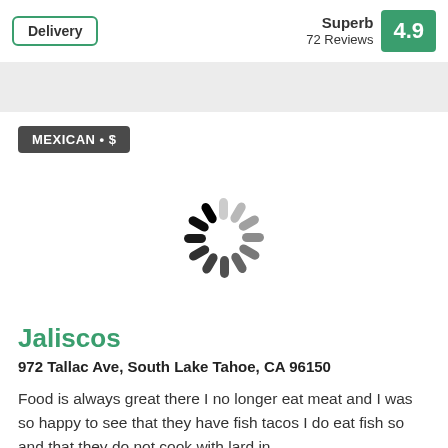Delivery
Superb
72 Reviews
4.9
[Figure (other): Gray horizontal banner/band]
MEXICAN • $
[Figure (other): Loading spinner animation graphic]
Jaliscos
972 Tallac Ave, South Lake Tahoe, CA 96150
Food is always great there I no longer eat meat and I was so happy to see that they have fish tacos I do eat fish so and that they do not cook with lard in...
(530) 541-6516
Order online